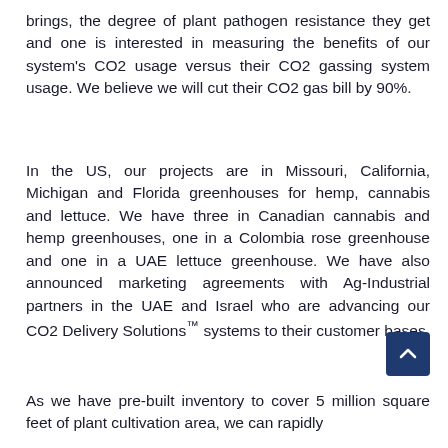brings, the degree of plant pathogen resistance they get and one is interested in measuring the benefits of our system's CO2 usage versus their CO2 gassing system usage. We believe we will cut their CO2 gas bill by 90%.
In the US, our projects are in Missouri, California, Michigan and Florida greenhouses for hemp, cannabis and lettuce. We have three in Canadian cannabis and hemp greenhouses, one in a Colombia rose greenhouse and one in a UAE lettuce greenhouse. We have also announced marketing agreements with Ag-Industrial partners in the UAE and Israel who are advancing our CO2 Delivery Solutions™ systems to their customer bases.
As we have pre-built inventory to cover 5 million square feet of plant cultivation area, we can rapidly